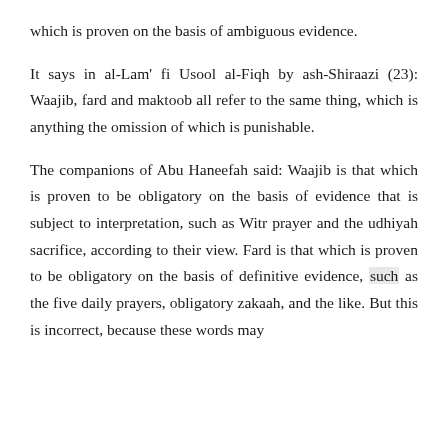which is proven on the basis of ambiguous evidence.
It says in al-Lam' fi Usool al-Fiqh by ash-Shiraazi (23): Waajib, fard and maktoob all refer to the same thing, which is anything the omission of which is punishable.
The companions of Abu Haneefah said: Waajib is that which is proven to be obligatory on the basis of evidence that is subject to interpretation, such as Witr prayer and the udhiyah sacrifice, according to their view. Fard is that which is proven to be obligatory on the basis of definitive evidence, such as the five daily prayers, obligatory zakaah, and the like. But this is incorrect, because these words may